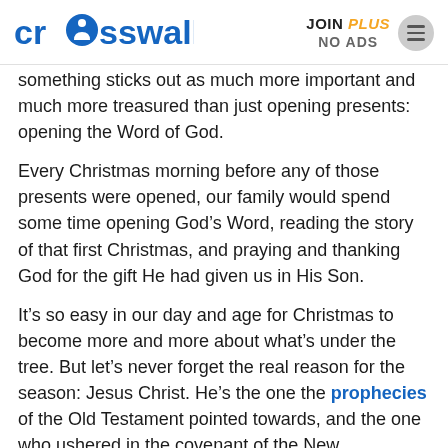crosswalk.com | JOIN PLUS NO ADS
something sticks out as much more important and much more treasured than just opening presents: opening the Word of God.
Every Christmas morning before any of those presents were opened, our family would spend some time opening God’s Word, reading the story of that first Christmas, and praying and thanking God for the gift He had given us in His Son.
It’s so easy in our day and age for Christmas to become more and more about what’s under the tree. But let’s never forget the real reason for the season: Jesus Christ. He’s the one the prophecies of the Old Testament pointed towards, and the one who ushered in the covenant of the New Testament.